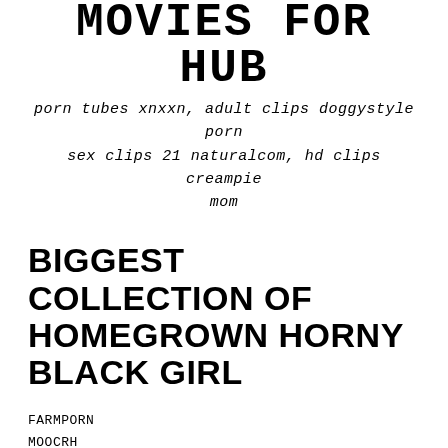MOVIES FOR HUB
porn tubes xnxxn, adult clips doggystyle porn sex clips 21 naturalcom, hd clips creampie mom
BIGGEST COLLECTION OF HOMEGROWN HORNY BLACK GIRL
FARMPORN
MOOCRH
8407kb
POSTED ON  DECEMBER 23, 2020
by Rachel